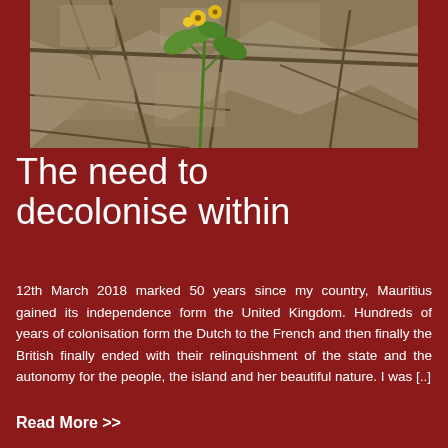[Figure (photo): Photo of cracked dry earth with a small green plant with yellow flowers growing through the cracks]
The need to decolonise within
12th March 2018 marked 50 years since my country, Mauritius gained its independence form the United Kingdom. Hundreds of years of colonisation form the Dutch to the French and then finally the British finally ended with their relinquishment of the state and the autonomy for the people, the island and her beautiful nature. I was [..]
Read More >>